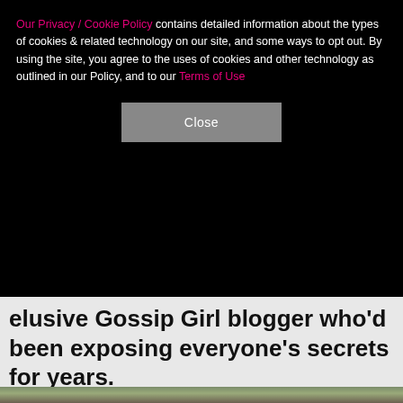Our Privacy / Cookie Policy contains detailed information about the types of cookies & related technology on our site, and some ways to opt out. By using the site, you agree to the uses of cookies and other technology as outlined in our Policy, and to our Terms of Use
Close
elusive Gossip Girl blogger who'd been exposing everyone's secrets for years.
[Figure (photo): Close-up photo of a young man with dark curly hair and a beard, facing the camera. Other people visible in the blurred background.]